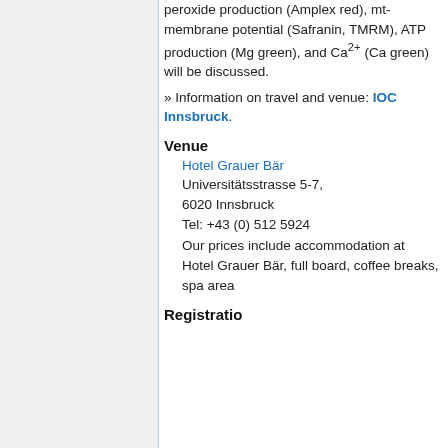peroxide production (Amplex red), mt-membrane potential (Safranin, TMRM), ATP production (Mg green), and Ca2+ (Ca green) will be discussed.
» Information on travel and venue: IOC Innsbruck.
Venue
Hotel Grauer Bär
Universitätsstrasse 5-7, 6020 Innsbruck
Tel: +43 (0) 512 5924
Our prices include accommodation at Hotel Grauer Bär, full board, coffee breaks, spa area
Registration